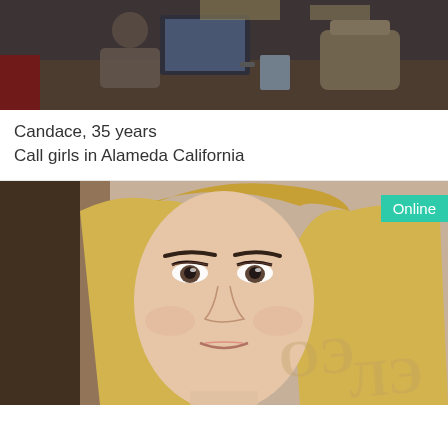[Figure (photo): Person sitting at a desk working on a laptop in a cafe or workspace setting, dark tones.]
Candace, 35 years
Call girls in Alameda California
[Figure (photo): Close-up portrait photo of a blonde woman with makeup, watermark text visible in lower right.]